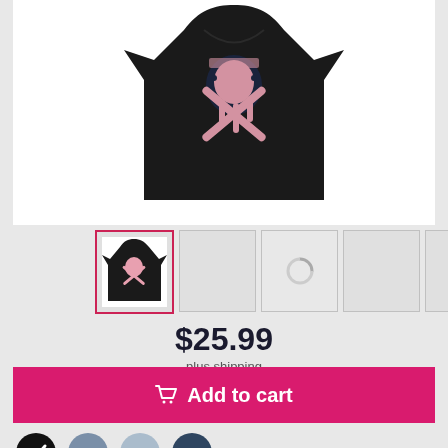[Figure (photo): Black graphic t-shirt with pink skull/skeleton design displayed on white background, shown as main product image and smaller thumbnail]
$25.99
plus shipping
Add to cart
Color: black